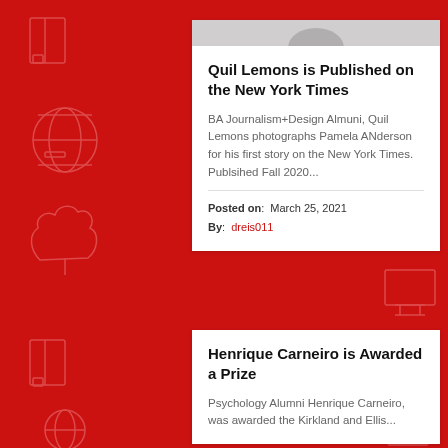Quil Lemons is Published on the New York Times
BA Journalism+Design Almuni, Quil Lemons photographs Pamela ANderson for his first story on the New York Times.  Publsihed Fall 2020...
Posted on: March 25, 2021
By: dreis011
Henrique Carneiro is Awarded a Prize
Psychology Alumni Henrique Carneiro, was awarded the Kirkland and Ellis...